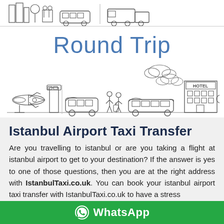[Figure (illustration): Top strip showing transportation icons: city buildings, bus stop with people, van/bus, and truck - line art style]
Round Trip
[Figure (illustration): Line art illustration showing airport-to-hotel transfer scene: airplane on left, control tower, minivan, people with luggage, limousine, hotel building with trees on right, clouds above]
Istanbul Airport Taxi Transfer
Are you travelling to istanbul or are you taking a flight at istanbul airport to get to your destination? If the answer is yes to one of those questions, then you are at the right address with IstanbulTaxi.co.uk. You can book your istanbul airport taxi transfer with IstanbulTaxi.co.uk to have a stress
[Figure (logo): WhatsApp green bar with WhatsApp logo icon and text 'WhatsApp']